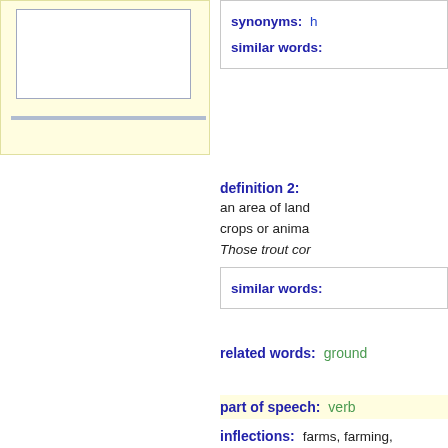[Figure (other): Yellow-background box with white inner bordered rectangle and a blue-gray horizontal line below]
synonyms: h
similar words:
definition 2: an area of land crops or animals Those trout cor
similar words:
related words: ground
part of speech: verb
inflections: farms, farming,
definition 1: to cultivate or ra My grandfather farm the land. For years he fa